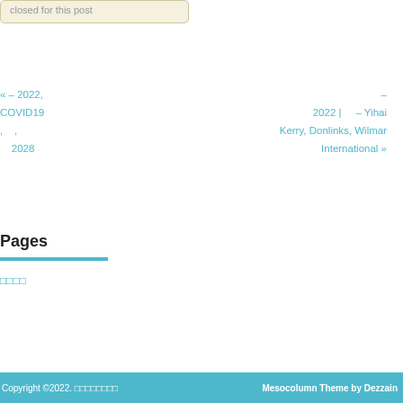closed for this post
« – 2022, COVID19 , , 2028
– 2022 | – Yihai Kerry, Donlinks, Wilmar International »
Pages
□□□□
Copyright ©2022. □□□□□□□□    Mesocolumn Theme by Dezzain